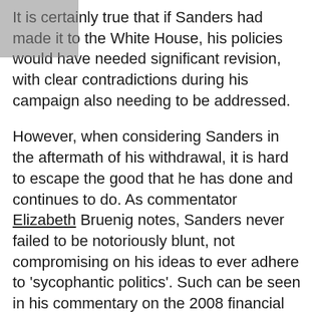It is certainly true that if Sanders had made it to the White House, his policies would have needed significant revision, with clear contradictions during his campaign also needing to be addressed.
However, when considering Sanders in the aftermath of his withdrawal, it is hard to escape the good that he has done and continues to do. As commentator Elizabeth Bruenig notes, Sanders never failed to be notoriously blunt, not compromising on his ideas to ever adhere to 'sycophantic politics'. Such can be seen in his commentary on the 2008 financial crisis and the subsequent environment during the Obama administration. Sanders acknowledges how the fallout of the recession still continues to damage the life of the average American. This lies in stark